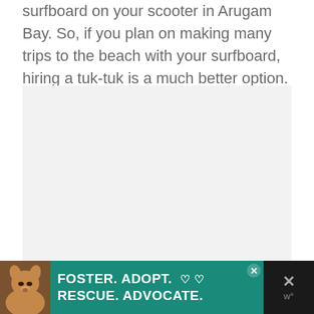surfboard on your scooter in Arugam Bay. So, if you plan on making many trips to the beach with your surfboard, hiring a tuk-tuk is a much better option.
[Figure (photo): Image placeholder with light gray background and three small dots indicating a loading carousel or image slider]
[Figure (photo): Advertisement banner with black background. Shows a dog image on left, teal/green section with white bold text 'FOSTER. ADOPT. RESCUE. ADVOCATE.' with heart symbols, and a dark close button area on right with an X mark.]